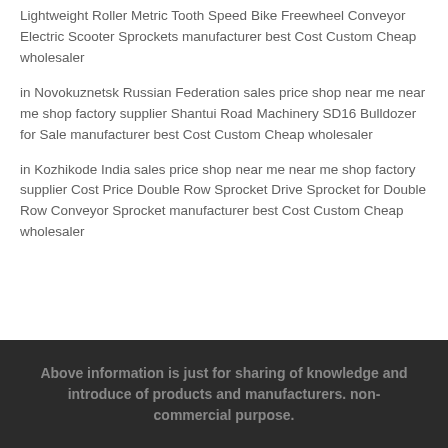Lightweight Roller Metric Tooth Speed Bike Freewheel Conveyor Electric Scooter Sprockets manufacturer best Cost Custom Cheap wholesaler
in Novokuznetsk Russian Federation sales price shop near me near me shop factory supplier Shantui Road Machinery SD16 Bulldozer for Sale manufacturer best Cost Custom Cheap wholesaler
in Kozhikode India sales price shop near me near me shop factory supplier Cost Price Double Row Sprocket Drive Sprocket for Double Row Conveyor Sprocket manufacturer best Cost Custom Cheap wholesaler
Above information is just for sharing of knowledge and introduce of products and manufacturers. non-commercial purpose.